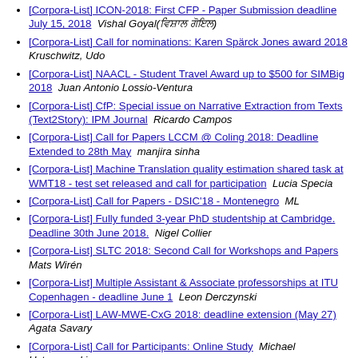[Corpora-List] ICON-2018: First CFP - Paper Submission deadline July 15, 2018   Vishal Goyal(ਵਿਸ਼ਾਲ ਗੋਇਲ)
[Corpora-List] Call for nominations: Karen Spärck Jones award 2018   Kruschwitz, Udo
[Corpora-List] NAACL - Student Travel Award up to $500 for SIMBig 2018   Juan Antonio Lossio-Ventura
[Corpora-List] CfP: Special issue on Narrative Extraction from Texts (Text2Story): IPM Journal   Ricardo Campos
[Corpora-List] Call for Papers LCCM @ Coling 2018: Deadline Extended to 28th May   manjira sinha
[Corpora-List] Machine Translation quality estimation shared task at WMT18 - test set released and call for participation   Lucia Specia
[Corpora-List] Call for Papers - DSIC'18 - Montenegro   ML
[Corpora-List] Fully funded 3-year PhD studentship at Cambridge. Deadline 30th June 2018.   Nigel Collier
[Corpora-List] SLTC 2018: Second Call for Workshops and Papers   Mats Wirén
[Corpora-List] Multiple Assistant & Associate professorships at ITU Copenhagen - deadline June 1   Leon Derczynski
[Corpora-List] LAW-MWE-CxG 2018: deadline extension (May 27)   Agata Savary
[Corpora-List] Call for Participants: Online Study   Michael Ustaszewski
[Corpora-List] ...